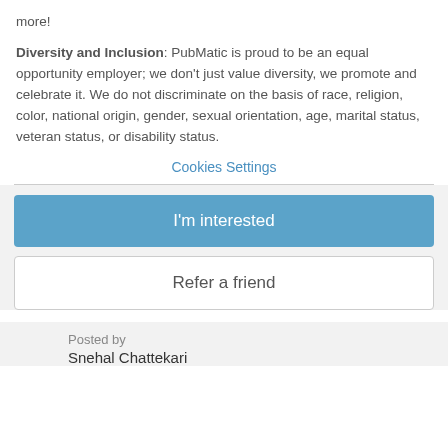more!
Diversity and Inclusion: PubMatic is proud to be an equal opportunity employer; we don't just value diversity, we promote and celebrate it. We do not discriminate on the basis of race, religion, color, national origin, gender, sexual orientation, age, marital status, veteran status, or disability status.
Cookies Settings
I'm interested
Refer a friend
Posted by
Snehal Chattekari